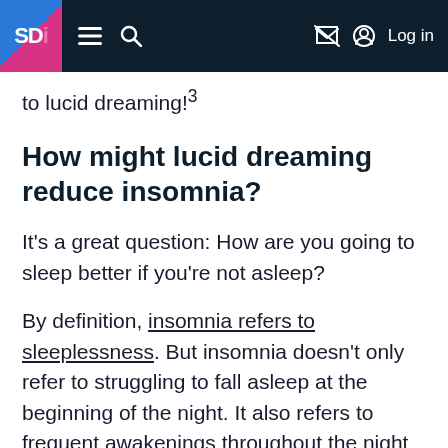SD i  ≡  🔍  [notification off]  [user] Log in
to lucid dreaming!³
How might lucid dreaming reduce insomnia?
It's a great question: How are you going to sleep better if you're not asleep?
By definition, insomnia refers to sleeplessness. But insomnia doesn't only refer to struggling to fall asleep at the beginning of the night. It also refers to frequent awakenings throughout the night and rising far too early at the end of the sleep